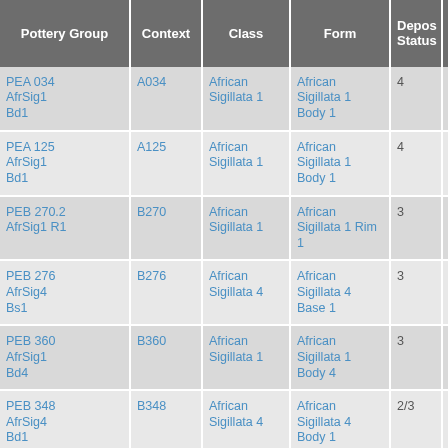| Pottery Group | Context | Class | Form | Depos Status | R Ct | R EV |
| --- | --- | --- | --- | --- | --- | --- |
| PEA 034 AfrSig1 Bd1 | A034 | African Sigillata 1 | African Sigillata 1 Body 1 | 4 |  |  |
| PEA 125 AfrSig1 Bd1 | A125 | African Sigillata 1 | African Sigillata 1 Body 1 | 4 |  |  |
| PEB 270.2 AfrSig1 R1 | B270 | African Sigillata 1 | African Sigillata 1 Rim 1 | 3 | 5 |  |
| PEB 276 AfrSig4 Bs1 | B276 | African Sigillata 4 | African Sigillata 4 Base 1 | 3 |  |  |
| PEB 360 AfrSig1 Bd4 | B360 | African Sigillata 1 | African Sigillata 1 Body 4 | 3 |  |  |
| PEB 348 AfrSig4 Bd1 | B348 | African Sigillata 4 | African Sigillata 4 Body 1 | 2/3 |  |  |
| PEA 097 |  |  | African |  |  |  |